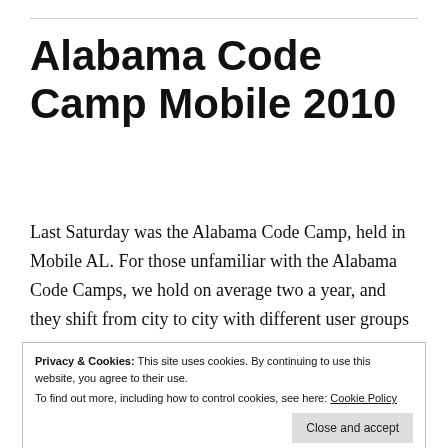Alabama Code Camp Mobile 2010
Last Saturday was the Alabama Code Camp, held in Mobile AL. For those unfamiliar with the Alabama Code Camps, we hold on average two a year, and they shift from city to city with different user groups acting as the host group. Other cities include Huntsville, Birmingham, and Montgomery. This time though the
Privacy & Cookies: This site uses cookies. By continuing to use this website, you agree to their use.
To find out more, including how to control cookies, see here: Cookie Policy
to boot. A big congrats to Ryan and his team of